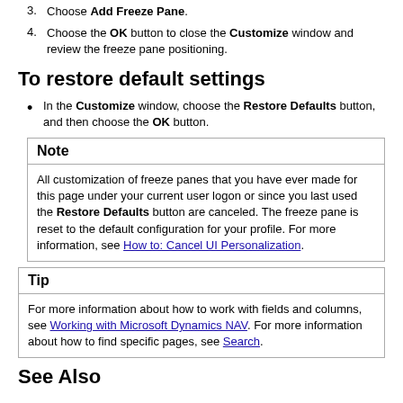3. Choose Add Freeze Pane.
4. Choose the OK button to close the Customize window and review the freeze pane positioning.
To restore default settings
In the Customize window, choose the Restore Defaults button, and then choose the OK button.
Note
All customization of freeze panes that you have ever made for this page under your current user logon or since you last used the Restore Defaults button are canceled. The freeze pane is reset to the default configuration for your profile. For more information, see How to: Cancel UI Personalization.
Tip
For more information about how to work with fields and columns, see Working with Microsoft Dynamics NAV. For more information about how to find specific pages, see Search.
See Also